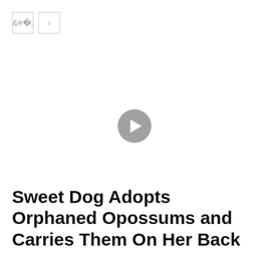[Figure (other): Navigation previous and next arrow buttons in square outlines]
[Figure (other): Video player area with a circular play button in the center on a white background]
Sweet Dog Adopts Orphaned Opossums and Carries Them On Her Back